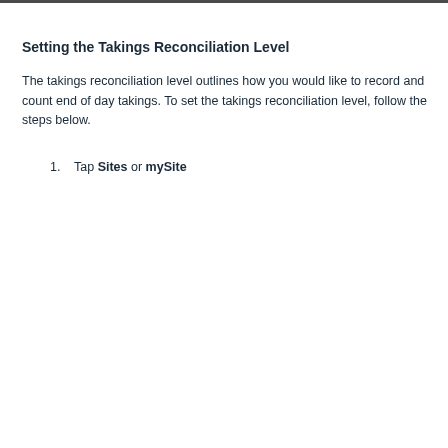Setting the Takings Reconciliation Level
The takings reconciliation level outlines how you would like to record and count end of day takings. To set the takings reconciliation level, follow the steps below.
Tap Sites or mySite